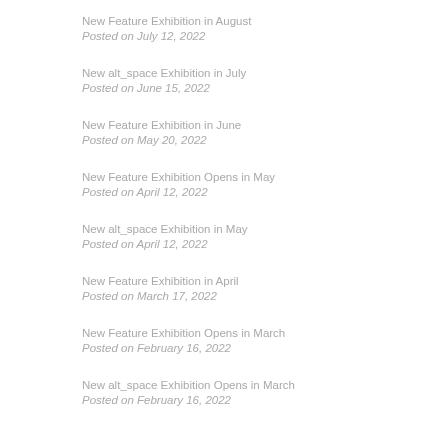New Feature Exhibition in August
Posted on July 12, 2022
New alt_space Exhibition in July
Posted on June 15, 2022
New Feature Exhibition in June
Posted on May 20, 2022
New Feature Exhibition Opens in May
Posted on April 12, 2022
New alt_space Exhibition in May
Posted on April 12, 2022
New Feature Exhibition in April
Posted on March 17, 2022
New Feature Exhibition Opens in March
Posted on February 16, 2022
New alt_space Exhibition Opens in March
Posted on February 16, 2022